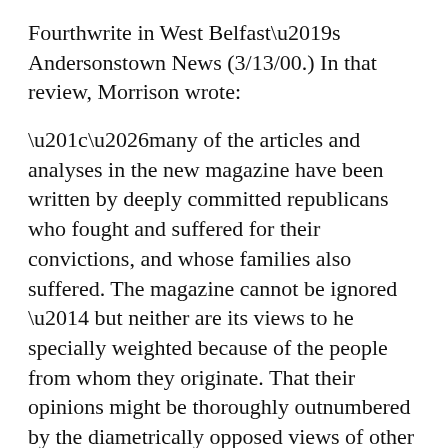Fourthwrite in West Belfast’s Andersonstown News (3/13/00.) In that review, Morrison wrote:
“…many of the articles and analyses in the new magazine have been written by deeply committed republicans who fought and suffered for their convictions, and whose families also suffered. The magazine cannot be ignored — but neither are its views to he specially weighted because of the people from whom they originate. That their opinions might be thoroughly outnumbered by the diametrically opposed views of other ex-lifers, ex-blanketmen or ex-hunger strikers, in support of Sinn Fein policy, does not invalidate the arguments expressed in Fourthwrite. Everyone else might be wrong.”
Here, Morrison singles out the ex-prisoner community — a community that is a very important part of the Sinn Fein constituency. In your work with ex-prisoners, do you find a strong support for Sinn Fein…